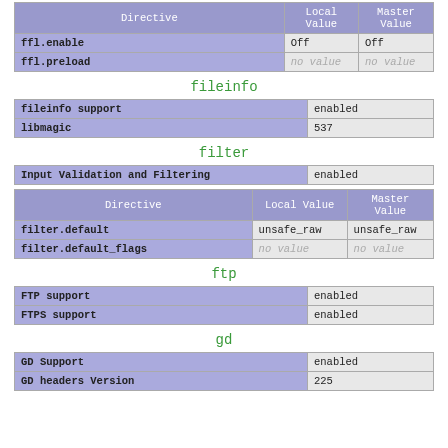| Directive | Local Value | Master Value |
| --- | --- | --- |
| ffl.enable | Off | Off |
| ffl.preload | no value | no value |
fileinfo
| fileinfo support | enabled |
| libmagic | 537 |
filter
| Input Validation and Filtering | enabled |
| Directive | Local Value | Master Value |
| --- | --- | --- |
| filter.default | unsafe_raw | unsafe_raw |
| filter.default_flags | no value | no value |
ftp
| FTP support | enabled |
| FTPS support | enabled |
gd
| GD Support | enabled |
| GD headers Version | 225 |